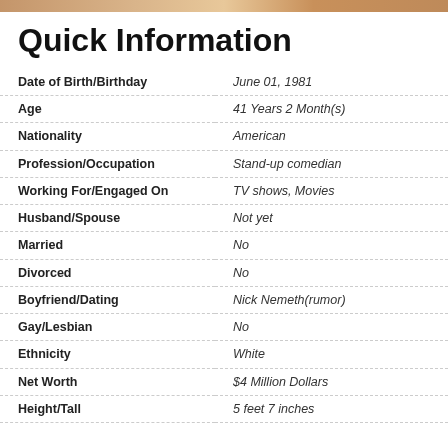[Figure (photo): Cropped photo strip showing partial view of a person at the top of the page]
Quick Information
| Field | Value |
| --- | --- |
| Date of Birth/Birthday | June 01, 1981 |
| Age | 41 Years 2 Month(s) |
| Nationality | American |
| Profession/Occupation | Stand-up comedian |
| Working For/Engaged On | TV shows, Movies |
| Husband/Spouse | Not yet |
| Married | No |
| Divorced | No |
| Boyfriend/Dating | Nick Nemeth(rumor) |
| Gay/Lesbian | No |
| Ethnicity | White |
| Net Worth | $4 Million Dollars |
| Height/Tall | 5 feet 7 inches |